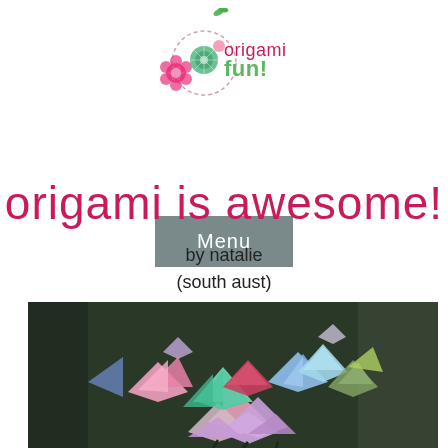[Figure (logo): Origami Fun! logo with colorful flower/origami decorations and dotted circle design]
Menu
origami is awesome!
by natalie
(south aust)
[Figure (photo): A colorful bouquet of folded origami paper cranes in various colors - pink, green, blue, purple, red - arranged together like a flower bouquet, photographed against a dark blurred background]